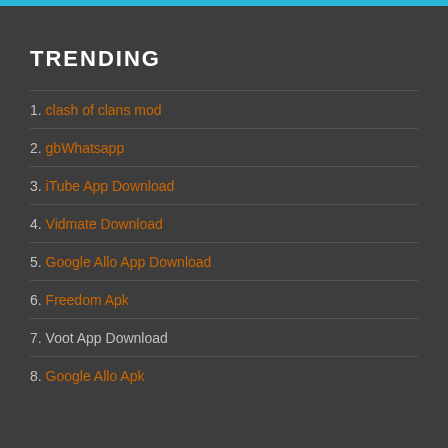TRENDING
1. clash of clans mod
2. gbWhatsapp
3. iTube App Download
4. Vidmate Download
5. Google Allo App Download
6. Freedom Apk
7. Voot App Download
8. Google Allo Apk